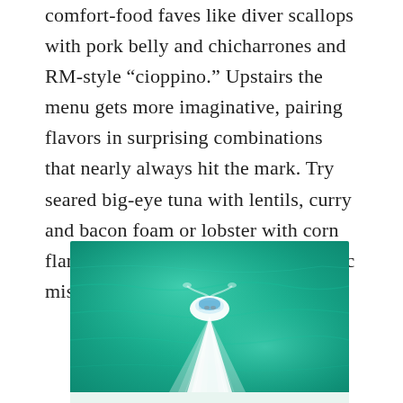comfort-food faves like diver scallops with pork belly and chicharrones and RM-style “cioppino.” Upstairs the menu gets more imaginative, pairing flavors in surprising combinations that nearly always hit the mark. Try seared big-eye tuna with lentils, curry and bacon foam or lobster with corn flan, Russian cherries and black garlic miso sauce.
[Figure (photo): Aerial view of a boat moving through turquoise-green water, leaving a white wake trail behind it.]
Everything planned by us. Everything personalized...